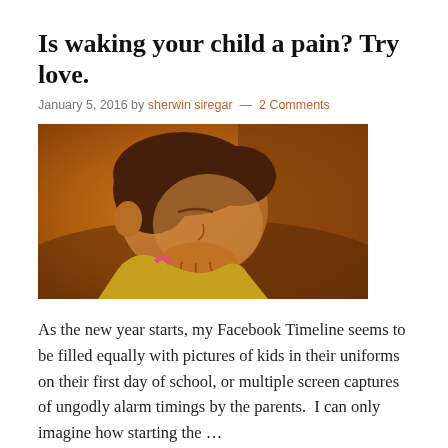Is waking your child a pain? Try love.
January 5, 2016 by sherwin siregar — 2 Comments
[Figure (photo): A young child sleeping, face resting on hand, wearing a yellow top with a pink strap visible, warm amber tones]
As the new year starts, my Facebook Timeline seems to be filled equally with pictures of kids in their uniforms on their first day of school, or multiple screen captures of ungodly alarm timings by the parents.  I can only imagine how starting the ... [Continue reading]
Filed Under: Brain Development